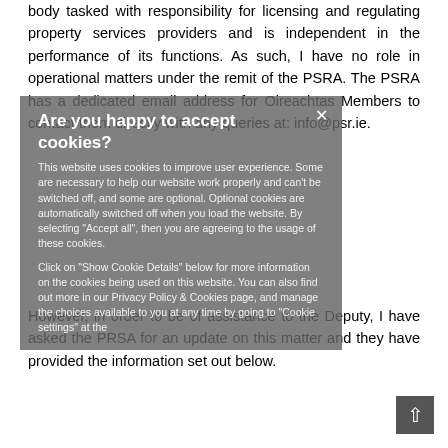body tasked with responsibility for licensing and regulating property services providers and is independent in the performance of its functions. As such, I have no role in operational matters under the remit of the PSRA. The PSRA has a dedicated email address for Oireachtas Members to contact them directly with any queries at: info@psr.ie.
Are you happy to accept cookies? This website uses cookies to improve user experience. Some are necessary to help our website work properly and can't be switched off, and some are optional. Optional cookies are automatically switched off when you load the website. By selecting "Accept all", then you are agreeing to the usage of these cookies. Click on "Show Cookie Details" below for more information on the cookies being used on this website. You can also find out more in our Privacy Policy & Cookies page, and manage the choices available to you at any time by going to "Cookie settings" at the
However, in order to be of assistance to the Deputy, I have asked the PRSA for an update on this matter and they have provided the information set out below.